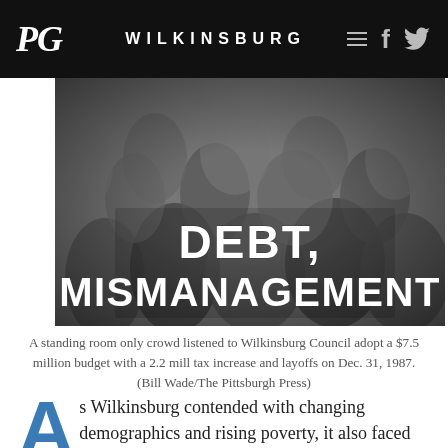PG  WILKINSBURG
[Figure (photo): Black and white photo of a standing room only crowd, with overlay text reading DEBT, MISMANAGEMENT]
A standing room only crowd listened to Wilkinsburg Council adopt a $7.5 million budget with a 2.2 mill tax increase and layoffs on Dec. 31, 1987. (Bill Wade/The Pittsburgh Press)
As Wilkinsburg contended with changing demographics and rising poverty, it also faced problems with